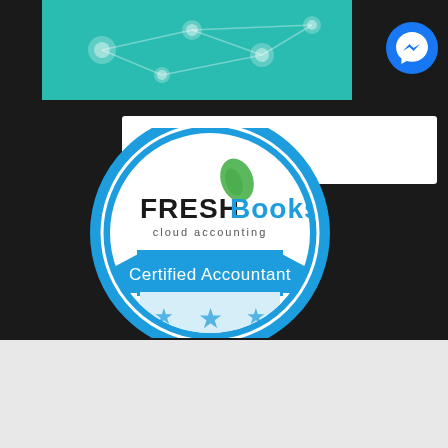[Figure (screenshot): Dark background webpage showing a teal network/technology image in top left, a Facebook Messenger floating button (blue circle with lightning bolt icon) in top right, a white horizontal bar, and a FreshBooks cloud accounting Certified Accountant badge/seal centered below.]
[Figure (logo): FreshBooks cloud accounting Certified Accountant badge — circular blue seal with FreshBooks logo (green leaf, black/blue text), 'cloud accounting' subtitle, blue ribbon banner with 'Certified Accountant' in white text, and three decorative stars at the bottom.]